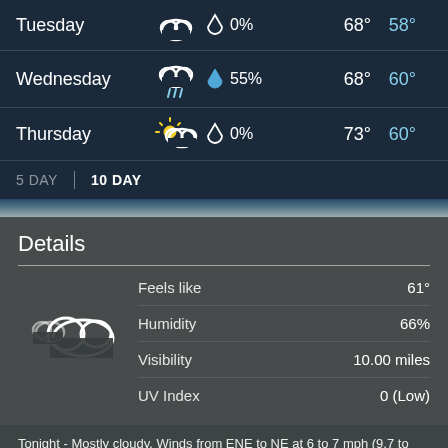| Day | Condition | Precip | High | Low |
| --- | --- | --- | --- | --- |
| Tuesday | Cloudy | 0% | 68° | 58° |
| Wednesday | Rainy | 55% | 68° | 60° |
| Thursday | Partly Cloudy | 0% | 73° | 60° |
5 DAY | 10 DAY
Details
| Detail | Value |
| --- | --- |
| Feels like | 61° |
| Humidity | 66% |
| Visibility | 10.00 miles |
| UV Index | 0 (Low) |
Tonight - Mostly cloudy. Winds from ENE to NE at 6 to 7 mph (9.7 to 11.3 kph). The overnight low will be 58 °F (14.4 °C).
Today - Mostly cloudy with a high of 67 °F (19.4 °C). Winds variable at 4 to 10 mph (6.4 to 16.1 kph).